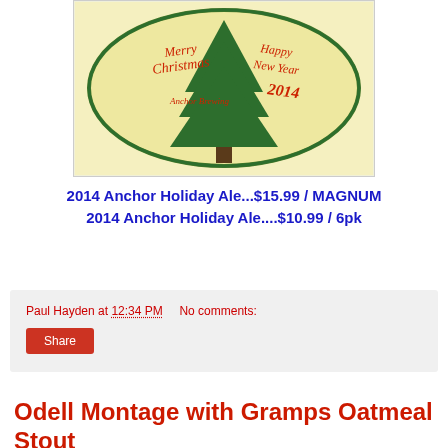[Figure (illustration): Beer label for 2014 Anchor Holiday Ale showing a Christmas tree in an oval frame with text 'Merry Christmas Happy New Year 2014 Anchor Brewing' on a cream/yellow background with green border]
2014 Anchor Holiday Ale...$15.99 / MAGNUM
2014 Anchor Holiday Ale....$10.99 / 6pk
Paul Hayden at 12:34 PM   No comments:
Share
Odell Montage with Gramps Oatmeal Stout